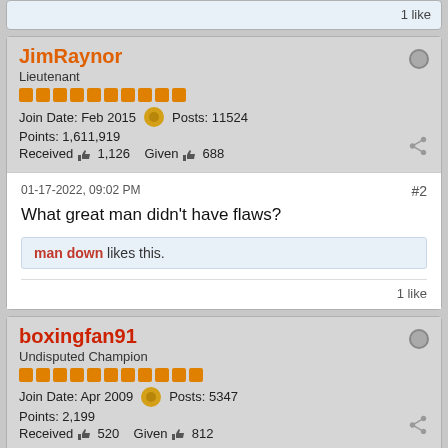1 like
JimRaynor
Lieutenant
Join Date: Feb 2015  Posts: 11524
Points: 1,611,919
Received 1,126  Given 688
01-17-2022, 09:02 PM
#2
What great man didn't have flaws?
man down likes this.
1 like
boxingfan91
Undisputed Champion
Join Date: Apr 2009  Posts: 5347
Points: 2,199
Received 520  Given 812